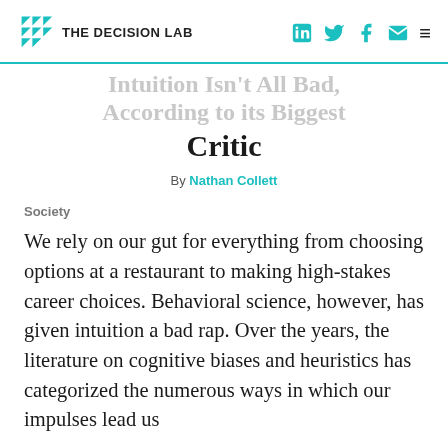THE DECISION LAB
Intuition Isn't All Bad, According to its Biggest Critic
By Nathan Collett
Society
We rely on our gut for everything from choosing options at a restaurant to making high-stakes career choices. Behavioral science, however, has given intuition a bad rap. Over the years, the literature on cognitive biases and heuristics has categorized the numerous ways in which our impulses lead us